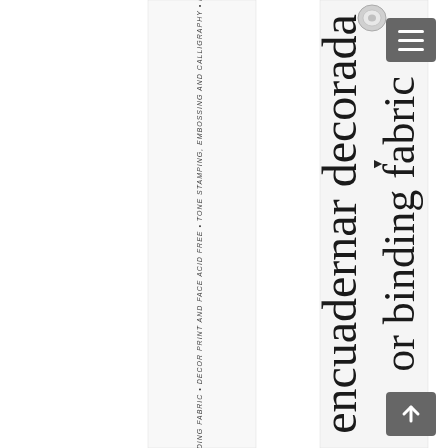[Figure (photo): A close-up photograph of a product label tag (fabric/binding tape tag) rotated sideways. The tag has small italic uppercase text on a narrow left strip reading 'PVC FREE BINDING FABRIC • DECOR PRINT AND FACE ACID FREE • TONE STAMPING, EMBOSSING AND CALLIGRAPHY • PERFECT TH...' and large decorative cursive/script text on the wider right portion reading 'encuadernar decorada' and 'or binding fabric'. A decorative button/grommet is visible at the top of the tag. Navigation menu buttons are visible in the upper right and lower right corners.]